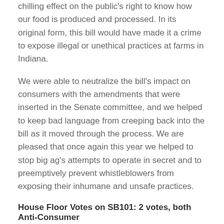chilling effect on the public's right to know how our food is produced and processed. In its original form, this bill would have made it a crime to expose illegal or unethical practices at farms in Indiana.
We were able to neutralize the bill's impact on consumers with the amendments that were inserted in the Senate committee, and we helped to keep bad language from creeping back into the bill as it moved through the process. We are pleased that once again this year we helped to stop big ag's attempts to operate in secret and to preemptively prevent whistleblowers from exposing their inhumane and unsafe practices.
House Floor Votes on SB101: 2 votes, both Anti-Consumer
HB1391: CHOICE program
Status: Signed into law by Gov. Pence
Changes asset limitations within the community and home options